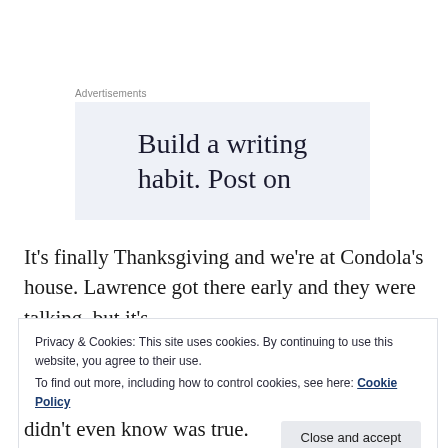Advertisements
[Figure (other): Advertisement banner with light blue-grey background and text: 'Build a writing habit. Post on']
It’s finally Thanksgiving and we’re at Condola’s house. Lawrence got there early and they were talking, but it’s
Privacy & Cookies: This site uses cookies. By continuing to use this website, you agree to their use.
To find out more, including how to control cookies, see here: Cookie Policy
didn’t even know was true.